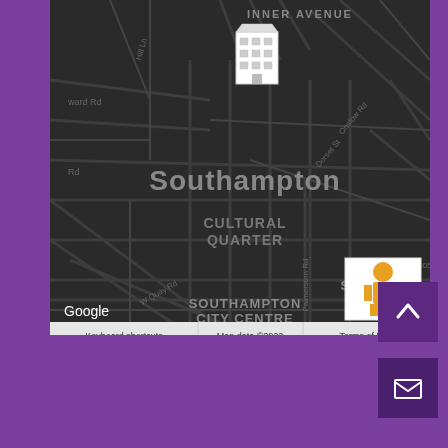[Figure (map): Dark-themed Google Maps screenshot showing Southampton city centre area, including labels for Inner Avenue, Southampton, Cultural Quarter, St Mary's, Southampton City Centre, W Quay Rd, Palmerston Rd, Dorset St, Onslow Rd, and a building marker near Inner Avenue. Bottom bar shows Google branding, Keyboard shortcuts, Map data ©2022, Terms of Use. Orange pegman icon visible bottom right of map.]
[Figure (other): Dark purple up-arrow chevron button (scroll to top)]
[Figure (other): Dark purple email/envelope icon button]